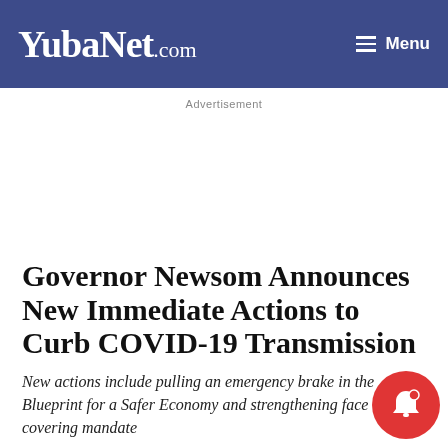YubaNet.com
Advertisement
Governor Newsom Announces New Immediate Actions to Curb COVID-19 Transmission
New actions include pulling an emergency brake in the Blueprint for a Safer Economy and strengthening face covering mandate